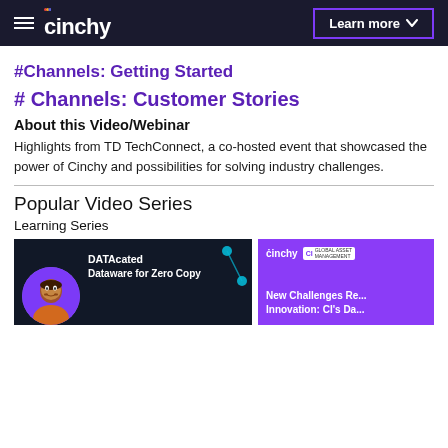cinchy — Learn more
#Channels: Getting Started
# Channels: Customer Stories
About this Video/Webinar
Highlights from TD TechConnect, a co-hosted event that showcased the power of Cinchy and possibilities for solving industry challenges.
Popular Video Series
Learning Series
[Figure (screenshot): Two video thumbnails: left shows 'DATAcated - Dataware for Zero Copy...' on dark background, right shows 'New Challenges Re... Innovation: CI's Da...' on purple background with Cinchy and CI Global Asset Management logos]